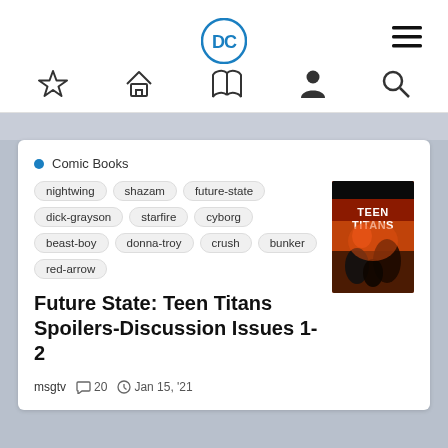DC Comics website navigation header with DC logo, hamburger menu, and icon bar (favorites, home, library, profile, search)
Comic Books
nightwing
shazam
future-state
dick-grayson
starfire
cyborg
beast-boy
donna-troy
crush
bunker
red-arrow
Future State: Teen Titans Spoilers-Discussion Issues 1-2
msgtv  20  Jan 15, '21
[Figure (illustration): Teen Titans comic book cover showing characters in orange/red dramatic scene with 'TEEN TITANS' text]